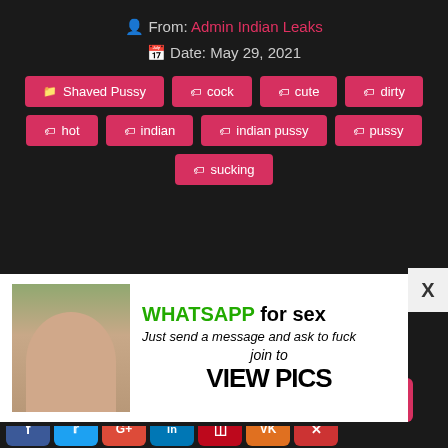From: Admin Indian Leaks
Date: May 29, 2021
Shaved Pussy
cock
cute
dirty
hot
indian
indian pussy
pussy
sucking
[Figure (infographic): Advertisement overlay with image and text: WHATSAPP for sex, Just send a message and ask to fuck, join to VIEW PICS]
[Figure (infographic): Social media share buttons row: Facebook, Twitter, Google+, LinkedIn, Pinterest, VK orange, X/close. Second row: VK, mail, scroll-up]